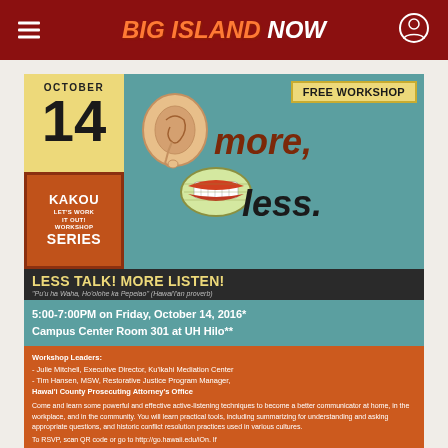Big Island Now
[Figure (infographic): Event flyer for a free workshop 'Less Talk! More Listen!' on October 14, featuring ear and mouth illustrations, date block, Kakou Let's Work It Out Workshop Series branding, time and location info, and workshop details.]
FREE WORKSHOP
LESS TALK! MORE LISTEN!
"Pu'u ha Waha, Ho'olohe ka Pepeiao" (Hawai'ian proverb)
5:00-7:00PM on Friday, October 14, 2016*
Campus Center Room 301 at UH Hilo**
Workshop Leaders:
- Julie Mitchell, Executive Director, Ku'ikahi Mediation Center
- Tim Hansen, MSW, Restorative Justice Program Manager, Hawai'i County Prosecuting Attorney's Office
Come and learn some powerful and effective active-listening techniques to become a better communicator at home, in the workplace, and in the community. You will learn practical tools, including summarizing for understanding and asking appropriate questions, and historic conflict resolution practices used in various cultures.
To RSVP, scan QR code or go to http://go.hawaii.edu/iOn. If